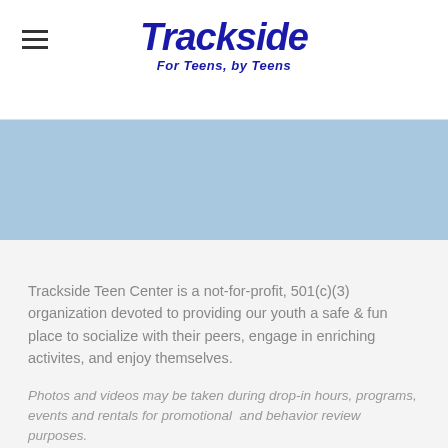Trackside — For Teens, by Teens
[Figure (other): Light blue decorative banner section]
Trackside Teen Center is a not-for-profit, 501(c)(3) organization devoted to providing our youth a safe & fun place to socialize with their peers, engage in enriching activites, and enjoy themselves.
Photos and videos may be taken during drop-in hours, programs, events and rentals for promotional and behavior review purposes.
Trackside Teen Center of Wilton and it's programs, camps & special events are not licensed by the CT Office of Early Childhood.